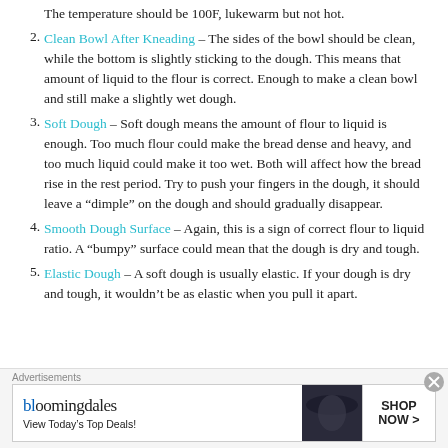The temperature should be 100F, lukewarm but not hot.
Clean Bowl After Kneading – The sides of the bowl should be clean, while the bottom is slightly sticking to the dough. This means that amount of liquid to the flour is correct. Enough to make a clean bowl and still make a slightly wet dough.
Soft Dough – Soft dough means the amount of flour to liquid is enough. Too much flour could make the bread dense and heavy, and too much liquid could make it too wet. Both will affect how the bread rise in the rest period. Try to push your fingers in the dough, it should leave a “dimple” on the dough and should gradually disappear.
Smooth Dough Surface – Again, this is a sign of correct flour to liquid ratio. A “bumpy” surface could mean that the dough is dry and tough.
Elastic Dough – A soft dough is usually elastic. If your dough is dry and tough, it wouldn’t be as elastic when you pull it apart.
Advertisements
[Figure (other): Bloomingdale's advertisement banner with logo, 'View Today's Top Deals!' tagline, image of woman in hat, and 'SHOP NOW >' button]